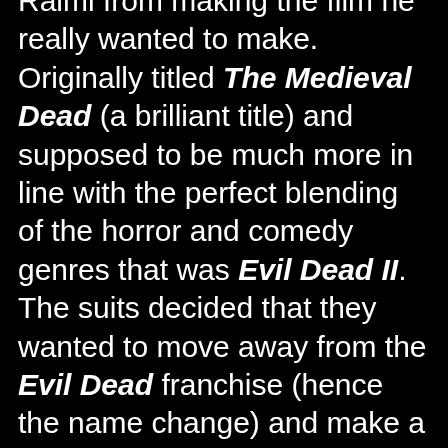Raimi from making the film he really wanted to make. Originally titled The Medieval Dead (a brilliant title) and supposed to be much more in line with the perfect blending of the horror and comedy genres that was Evil Dead II. The suits decided that they wanted to move away from the Evil Dead franchise (hence the name change) and make a film that would be more marketable, Evil Dead wasn't even mentioned in the marketing for this film anywhere despite that fact this is a sequel. So the horror elements were dialled back on and the suits even told